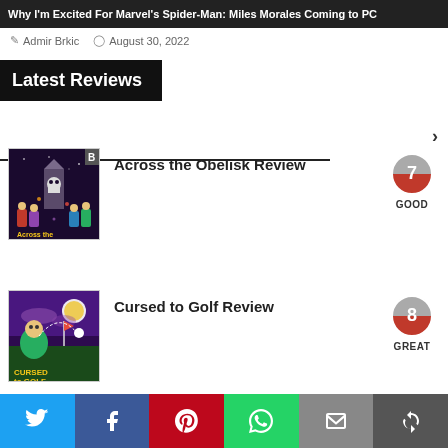Why I'm Excited For Marvel's Spider-Man: Miles Morales Coming to PC
Admir Brkic   August 30, 2022
Latest Reviews
>
[Figure (screenshot): Across the Obelisk game cover art thumbnail]
Across the Obelisk Review
[Figure (infographic): Score badge showing 7 GOOD]
[Figure (screenshot): Cursed to Golf game cover art thumbnail]
Cursed to Golf Review
[Figure (infographic): Score badge showing 8 GREAT]
Twitter | Facebook | Pinterest | WhatsApp | Email | More